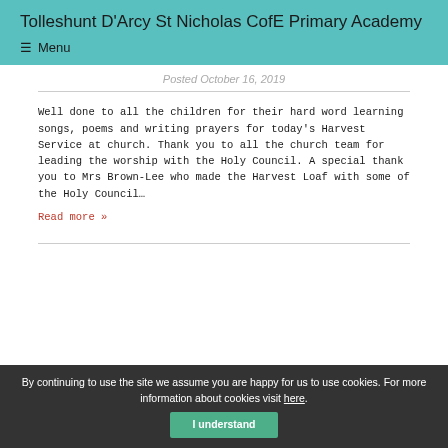Tolleshunt D'Arcy St Nicholas CofE Primary Academy
☰ Menu
Posted October 16, 2019
Well done to all the children for their hard word learning songs, poems and writing prayers for today's Harvest Service at church. Thank you to all the church team for leading the worship with the Holy Council. A special thank you to Mrs Brown-Lee who made the Harvest Loaf with some of the Holy Council…
Read more »
By continuing to use the site we assume you are happy for us to use cookies. For more information about cookies visit here. I understand